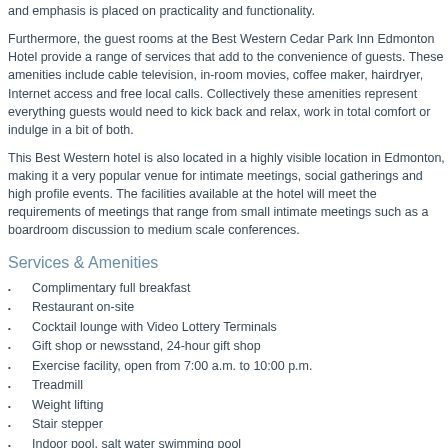and emphasis is placed on practicality and functionality.
Furthermore, the guest rooms at the Best Western Cedar Park Inn Edmonton Hotel provide a range of services that add to the convenience of guests. These amenities include cable television, in-room movies, coffee maker, hairdryer, Internet access and free local calls. Collectively these amenities represent everything guests would need to kick back and relax, work in total comfort or indulge in a bit of both.
This Best Western hotel is also located in a highly visible location in Edmonton, making it a very popular venue for intimate meetings, social gatherings and high profile events. The facilities available at the hotel will meet the requirements of meetings that range from small intimate meetings such as a boardroom discussion to medium scale conferences.
Services & Amenities
Complimentary full breakfast
Restaurant on-site
Cocktail lounge with Video Lottery Terminals
Gift shop or newsstand, 24-hour gift shop
Exercise facility, open from 7:00 a.m. to 10:00 p.m.
Treadmill
Weight lifting
Stair stepper
Indoor pool, salt water swimming pool
Multilingual staff
Private rooftop terrace for Business Class guest
Executive/club floors/VIP services
Car rental desk 7:00 a.m. to 7:00 p.m.
Guest laundry Monday through Friday
Safe deposit box
24-hour front desk...